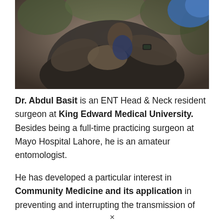[Figure (photo): A person in a dark jacket holding a child outdoors with autumn foliage in the background]
Dr. Abdul Basit is an ENT Head & Neck resident surgeon at King Edward Medical University. Besides being a full-time practicing surgeon at Mayo Hospital Lahore, he is an amateur entomologist.
He has developed a particular interest in Community Medicine and its application in preventing and interrupting the transmission of